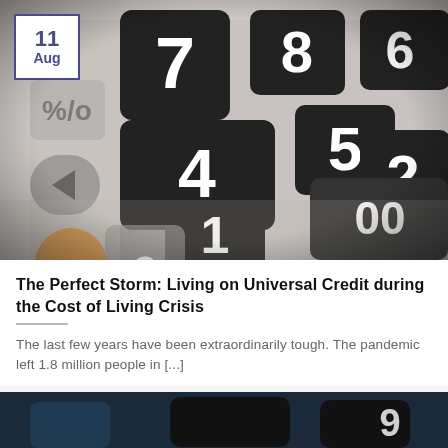[Figure (photo): Close-up photo of a calculator keypad showing number keys (0-8) in black with white text, plus an orange AC key, gray arrow key, and % key. Date badge overlay showing '11 Aug' in purple on white background with purple border in top-left corner.]
The Perfect Storm: Living on Universal Credit during the Cost of Living Crisis
The last few years have been extraordinarily tough. The pandemic left 1.8 million people in [...]
[Figure (photo): Partial view of another article's calculator image at the bottom of the page, dark blue-toned.]